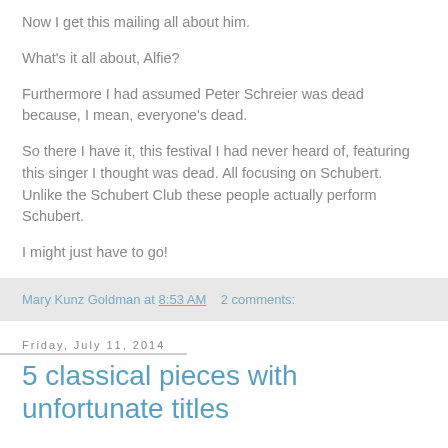Now I get this mailing all about him.
What's it all about, Alfie?
Furthermore I had assumed Peter Schreier was dead because, I mean, everyone's dead.
So there I have it, this festival I had never heard of, featuring this singer I thought was dead. All focusing on Schubert. Unlike the Schubert Club these people actually perform Schubert.
I might just have to go!
Mary Kunz Goldman at 8:53 AM    2 comments:
Friday, July 11, 2014
5 classical pieces with unfortunate titles